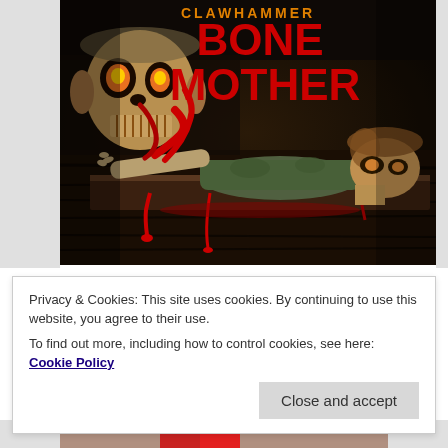[Figure (photo): Horror-themed album or promotional artwork titled 'Bone Mother' showing a grotesque skull/zombie figure at top left with glowing eyes, 'BONE MOTHER' text in red dripping letters at top right, and a bloody decomposed body/creature lying on a wooden table in the lower portion, with dark moody lighting and blood effects.]
Privacy & Cookies: This site uses cookies. By continuing to use this website, you agree to their use.
To find out more, including how to control cookies, see here: Cookie Policy
Close and accept
[Figure (photo): Partial bottom strip of another image showing sky and red elements, cropped at bottom of page.]